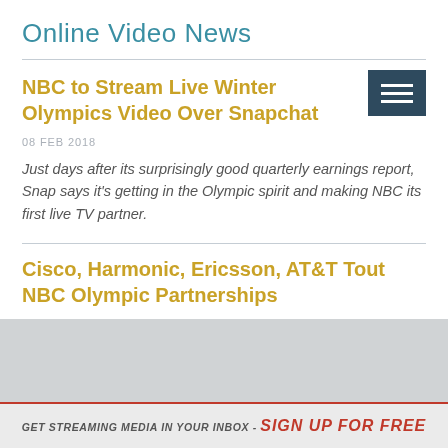Online Video News
NBC to Stream Live Winter Olympics Video Over Snapchat
08 FEB 2018
Just days after its surprisingly good quarterly earnings report, Snap says it's getting in the Olympic spirit and making NBC its first live TV partner.
Cisco, Harmonic, Ericsson, AT&T Tout NBC Olympic Partnerships
GET STREAMING MEDIA IN YOUR INBOX - SIGN UP FOR FREE